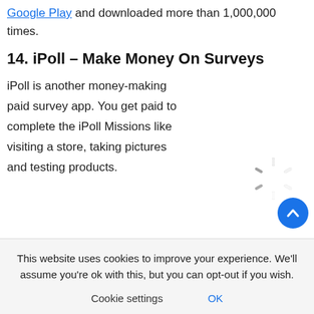Google Play and downloaded more than 1,000,000 times.
14. iPoll – Make Money On Surveys
iPoll is another money-making paid survey app. You get paid to complete the iPoll Missions like visiting a store, taking pictures and testing products.
[Figure (illustration): Loading spinner icon (gray spinning circle indicator)]
[Figure (illustration): Circular blue scroll-to-top button with white upward chevron arrow]
This website uses cookies to improve your experience. We'll assume you're ok with this, but you can opt-out if you wish.
Cookie settings   OK